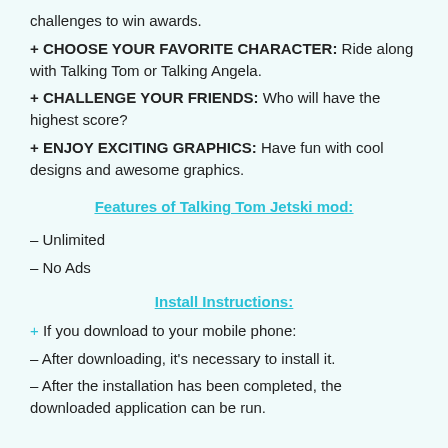challenges to win awards.
+ CHOOSE YOUR FAVORITE CHARACTER: Ride along with Talking Tom or Talking Angela.
+ CHALLENGE YOUR FRIENDS: Who will have the highest score?
+ ENJOY EXCITING GRAPHICS: Have fun with cool designs and awesome graphics.
Features of Talking Tom Jetski mod:
– Unlimited
– No Ads
Install Instructions:
+ If you download to your mobile phone:
– After downloading, it's necessary to install it.
– After the installation has been completed, the downloaded application can be run.